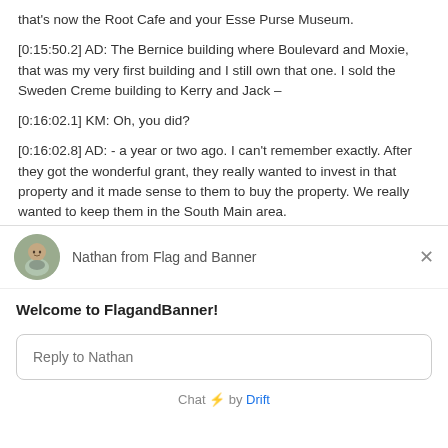that's now the Root Cafe and your Esse Purse Museum.
[0:15:50.2] AD: The Bernice building where Boulevard and Moxie, that was my very first building and I still own that one. I sold the Sweden Creme building to Kerry and Jack –
[0:16:02.1] KM: Oh, you did?
[0:16:02.8] AD: - a year or two ago. I can't remember exactly. After they got the wonderful grant, they really wanted to invest in that property and it made sense to them to buy the property. We really wanted to keep them in the South Main area.
[0:16:21.3] KM: Anita Davis, can I just say I love you. That was a very good thing for you to do with them.
[Figure (screenshot): Chat widget popup from Flag and Banner website. Shows avatar of Nathan, agent name 'Nathan from Flag and Banner', close X button, welcome message 'Welcome to FlagandBanner!', a reply input field labeled 'Reply to Nathan', and a footer 'Chat by Drift'.]